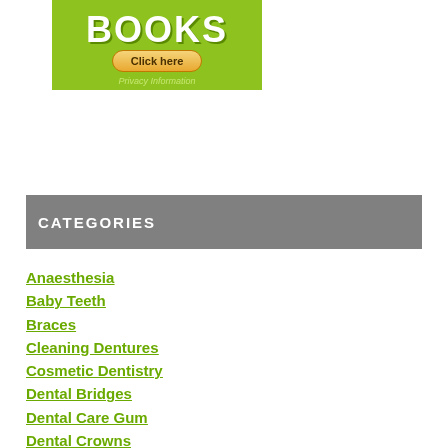[Figure (other): Green advertisement banner with 'BOOKS' text, a 'Click here' button, and 'Privacy Information' text]
CATEGORIES
Anaesthesia
Baby Teeth
Braces
Cleaning Dentures
Cosmetic Dentistry
Dental Bridges
Dental Care Gum
Dental Crowns
Dental Fillings
Dental Floss & Gum Health
Dental Implants
Dental X-Ray